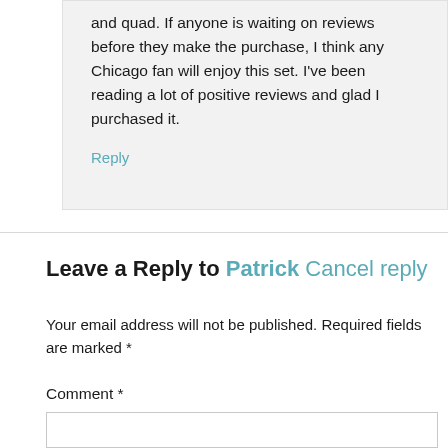and quad. If anyone is waiting on reviews before they make the purchase, I think any Chicago fan will enjoy this set. I've been reading a lot of positive reviews and glad I purchased it.
Reply
Leave a Reply to Patrick Cancel reply
Your email address will not be published. Required fields are marked *
Comment *